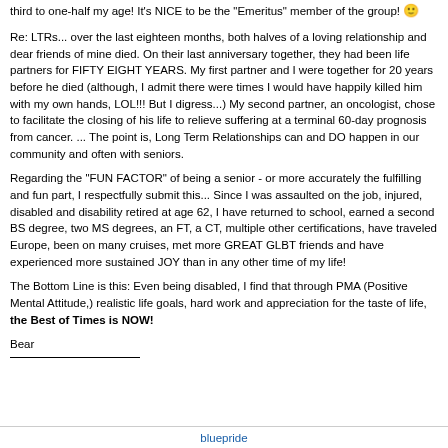third to one-half my age! It's NICE to be the 'Emeritus' member of the group! 🙂
Re: LTRs... over the last eighteen months, both halves of a loving relationship and dear friends of mine died. On their last anniversary together, they had been life partners for FIFTY EIGHT YEARS. My first partner and I were together for 20 years before he died (although, I admit there were times I would have happily killed him with my own hands, LOL!!! But I digress...) My second partner, an oncologist, chose to facilitate the closing of his life to relieve suffering at a terminal 60-day prognosis from cancer. ... The point is, Long Term Relationships can and DO happen in our community and often with seniors.
Regarding the "FUN FACTOR" of being a senior - or more accurately the fulfilling and fun part, I respectfully submit this... Since I was assaulted on the job, injured, disabled and disability retired at age 62, I have returned to school, earned a second BS degree, two MS degrees, an FT, a CT, multiple other certifications, have traveled Europe, been on many cruises, met more GREAT GLBT friends and have experienced more sustained JOY than in any other time of my life!
The Bottom Line is this: Even being disabled, I find that through PMA (Positive Mental Attitude,) realistic life goals, hard work and appreciation for the taste of life, the Best of Times is NOW!
Bear
bluepride